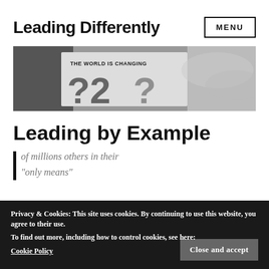Leading Differently
[Figure (photo): Black and white photo of a person holding a newspaper/sign that reads 'THE WORLD IS CHANGING' with large question mark numbers visible.]
Leading by Example
Privacy & Cookies: This site uses cookies. By continuing to use this website, you agree to their use. To find out more, including how to control cookies, see here: Cookie Policy
Close and accept